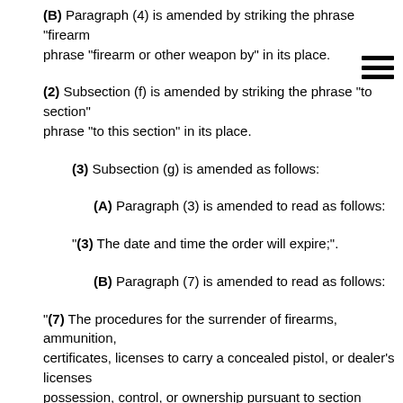(B) Paragraph (4) is amended by striking the phrase "firearm phrase "firearm or other weapon by" in its place.
(2) Subsection (f) is amended by striking the phrase "to section" phrase "to this section" in its place.
(3) Subsection (g) is amended as follows:
(A) Paragraph (3) is amended to read as follows:
"(3) The date and time the order will expire;".
(B) Paragraph (7) is amended to read as follows:
"(7) The procedures for the surrender of firearms, ammunition, certificates, licenses to carry a concealed pistol, or dealer's licenses possession, control, or ownership pursuant to section 1007; and".
(4) Subsection (h) is amended to read as follows:
"(h) An ex parte extreme risk protection order issued pursuant to remain in effect for an initial period not to exceed 14 days. The co